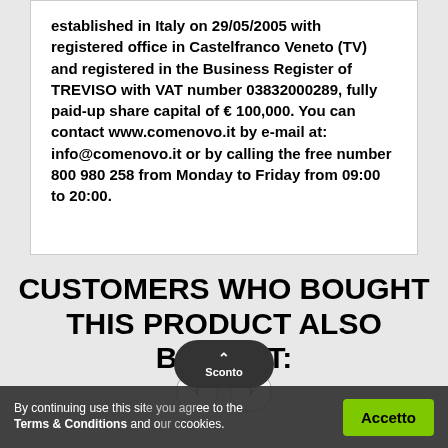established in Italy on 29/05/2005 with registered office in Castelfranco Veneto (TV) and registered in the Business Register of TREVISO with VAT number 03832000289, fully paid-up share capital of € 100,000. You can contact www.comenovo.it by e-mail at: info@comenovo.it or by calling the free number 800 980 258 from Monday to Friday from 09:00 to 20:00.
CUSTOMERS WHO BOUGHT THIS PRODUCT ALSO BOUGHT:
By continuing use this site you agree to the Terms & Conditions and our cookies.